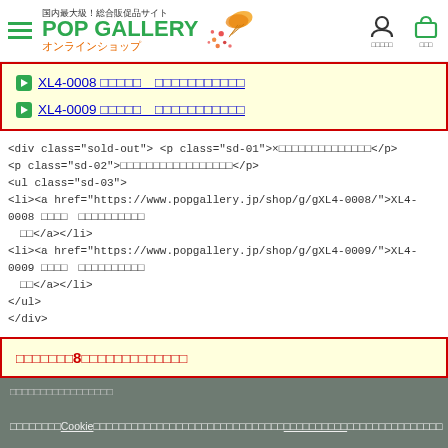国内最大級！総合販促品サイト POP GALLERY オンラインショップ
XL4-0008 □□□□□　□□□□□□□□□□□
XL4-0009 □□□□□　□□□□□□□□□□□
<div class="sold-out"> <p class="sd-01">×□□□□□□□□□□□□□□</p>
<p class="sd-02">□□□□□□□□□□□□□□□□□</p>
<ul class="sd-03">
<li><a href="https://www.popgallery.jp/shop/g/gXL4-0008/">XL4-0008 □□□□　□□□□□□□□□□</a></li>
<li><a href="https://www.popgallery.jp/shop/g/gXL4-0009/">XL4-0009 □□□□　□□□□□□□□□□</a></li>
</ul>
</div>
□□□□□□□8□□□□□□□□□□□□□
□□□□□□□□□□□□□□□□□□□
□□□□□□□□Cookie□□□□□□□□□□□□□□□□□□□□□□□□□□□□□□□□□□□□□